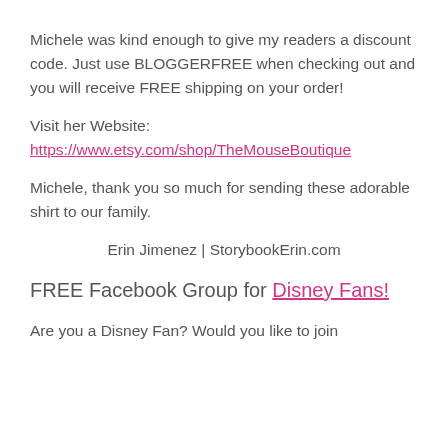Michele was kind enough to give my readers a discount code. Just use BLOGGERFREE when checking out and you will receive FREE shipping on your order!
Visit her Website: https://www.etsy.com/shop/TheMouseBoutique
Michele, thank you so much for sending these adorable shirt to our family.
Erin Jimenez | StorybookErin.com
FREE Facebook Group for Disney Fans!
Are you a Disney Fan? Would you like to join